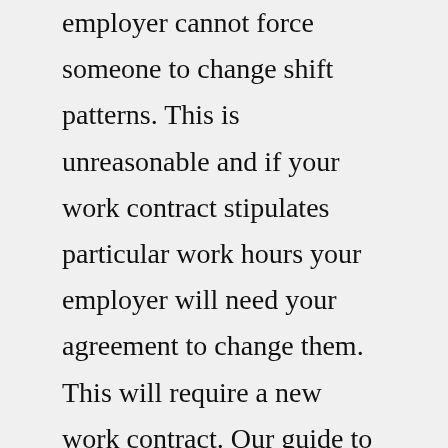employer cannot force someone to change shift patterns. This is unreasonable and if your work contract stipulates particular work hours your employer will need your agreement to change them. This will require a new work contract. Our guide to your rights when employers make changes to working hours has more ...Feb 02, 2014 · The dilemma My 16-year-old daughter has gone to live with my mum. We have always had a difficult relationship, but recently the